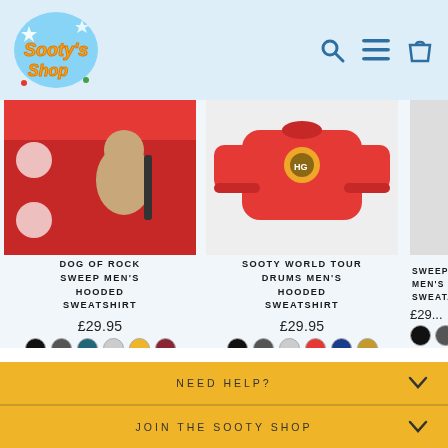[Figure (logo): Sooty's Shop logo - colorful cartoon text]
[Figure (screenshot): Product image: Dog of Rock Sweep Men's Hooded Sweatshirt - puppet playing guitar on red background]
DOG OF ROCK SWEEP MEN'S HOODED SWEATSHIRT
£29.95
[Figure (screenshot): Color swatches: black, charcoal, teal, light grey, yellow, burgundy]
[Figure (screenshot): Product image: Sooty World Tour Drums Men's Hooded Sweatshirt - red sweatshirt]
SOOTY WORLD TOUR DRUMS MEN'S HOODED SWEATSHIRT
£29.95
[Figure (screenshot): Color swatches: black, charcoal, light grey, red, navy, tan]
SWEEP C... MEN'S H... SWEAT...
£29...
NEED HELP?
JOIN THE SOOTY SHOP